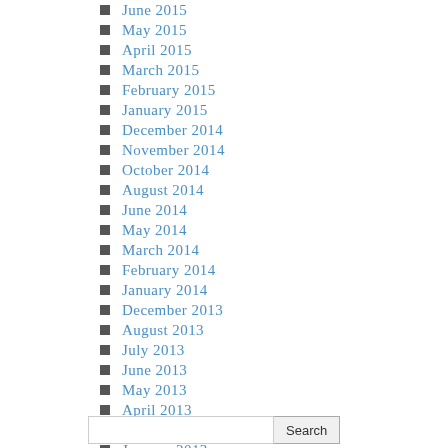June 2015
May 2015
April 2015
March 2015
February 2015
January 2015
December 2014
November 2014
October 2014
August 2014
June 2014
May 2014
March 2014
February 2014
January 2014
December 2013
August 2013
July 2013
June 2013
May 2013
April 2013
March 2013
January 2013